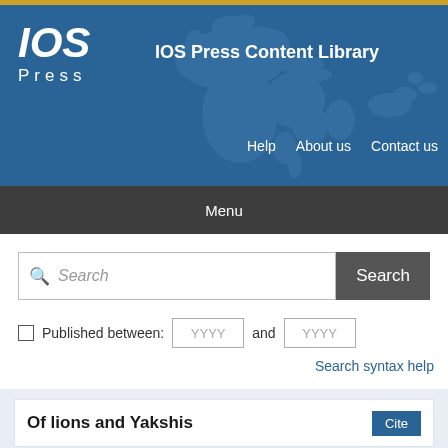[Figure (screenshot): IOS Press logo with italic IOS above PRESS text in white on blue background]
IOS Press Content Library
Help   About us   Contact us
Menu
Search (search input box)
Published between: YYYY and YYYY
Search syntax help
Of lions and Yakshis